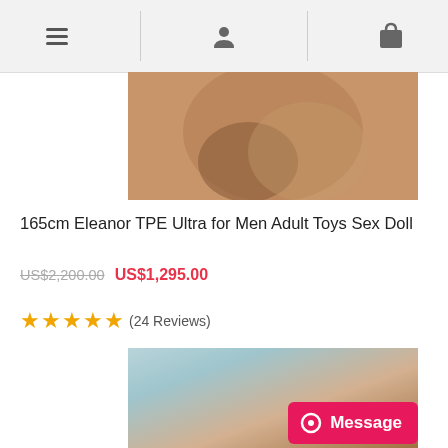[Figure (screenshot): Mobile e-commerce website navigation bar with hamburger menu, user account icon, and shopping bag icon]
[Figure (photo): Top portion of product image showing a tan-skinned figure]
165cm Eleanor TPE Ultra for Men Adult Toys Sex Doll
US$2,200.00  US$1,295.00
★★★★★(24 Reviews)
[Figure (photo): Product photo of a realistic doll with long black hair, wearing a blue outfit, with a Message button overlay in the bottom right]